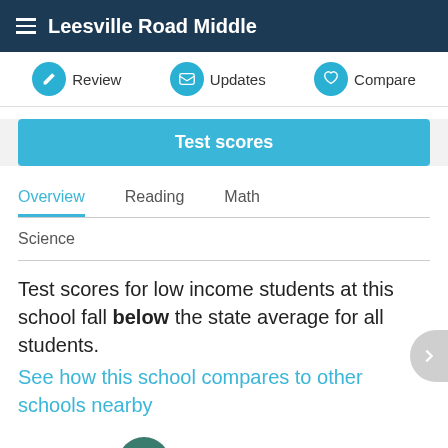Leesville Road Middle
Review   Updates   Compare
Test scores
Overview   Reading   Math   Science
Test scores for low income students at this school fall below the state average for all students.
See how this school compares to other schools nearby
All students   8/10